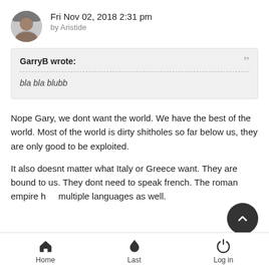Fri Nov 02, 2018 2:31 pm by Aristide
GarryB wrote:
bla bla blubb
Nope Gary, we dont want the world. We have the best of the world. Most of the world is dirty shitholes so far below us, they are only good to be exploited.
It also doesnt matter what Italy or Greece want. They are bound to us. They dont need to speak french. The roman empire had multiple languages as well.
Home  Last  Log in